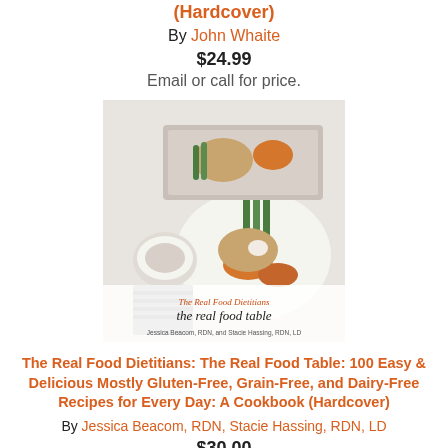(Hardcover)
By John Whaite
$24.99
Email or call for price.
[Figure (photo): Book cover of 'The Real Food Dietitians: The Real Food Table' showing a plate of food with chicken, vegetables, sweet potatoes and asparagus on a white background.]
The Real Food Dietitians: The Real Food Table: 100 Easy & Delicious Mostly Gluten-Free, Grain-Free, and Dairy-Free Recipes for Every Day: A Cookbook (Hardcover)
By Jessica Beacom, RDN, Stacie Hassing, RDN, LD
$30.00
Add to Cart